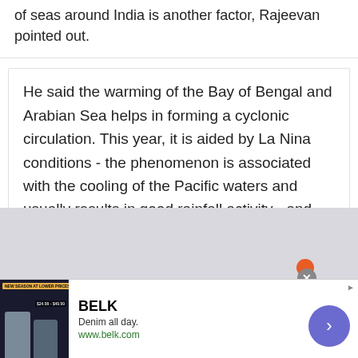of seas around India is another factor, Rajeevan pointed out.
He said the warming of the Bay of Bengal and Arabian Sea helps in forming a cyclonic circulation. This year, it is aided by La Nina conditions - the phenomenon is associated with the cooling of the Pacific waters and usually results in good rainfall activity - and some remnants of cyclonic circulation from the Pacific Ocean.
[Figure (other): Advertisement banner for BELK - Denim all day. www.belk.com with a close button and arrow navigation button.]